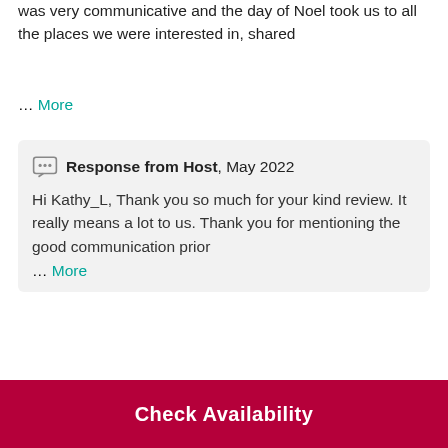was very communicative and the day of Noel took us to all the places we were interested in, shared
… More
Response from Host, May 2022
Hi Kathy_L, Thank you so much for your kind review. It really means a lot to us. Thank you for mentioning the good communication prior
… More
Everyone should try this
Lorraine_T, Mar 2022
Noel our tour guide was excellent. He took us to
Check Availability